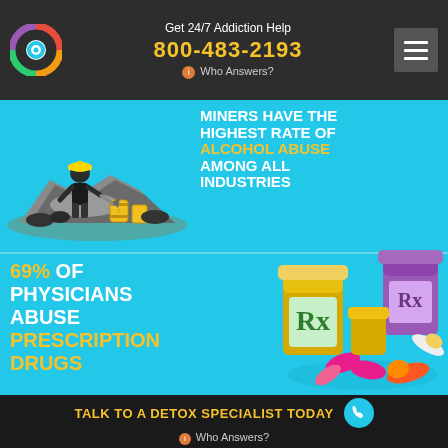Get 24/7 Addiction Help 800-483-2193 Who Answers?
MINERS HAVE THE HIGHEST RATE OF ALCOHOL ABUSE AMONG ALL INDUSTRIES
[Figure (illustration): Cartoon miner working on a rock face with equipment]
69% OF PHYSICIANS ABUSE PRESCRIPTION DRUGS
[Figure (illustration): Prescription pill bottles and capsules spilling out]
TALK TO A DETOX SPECIALIST TODAY — Who Answers?